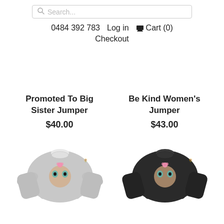Search...
0484 392 783   Log in   🛒 Cart (0)
Checkout
Promoted To Big Sister Jumper
$40.00
Be Kind Women's Jumper
$43.00
[Figure (photo): Grey sweatshirt with cute cartoon owl/cat with pink flower design]
[Figure (photo): Black sweatshirt with cute cartoon owl/cat with pink flower design]